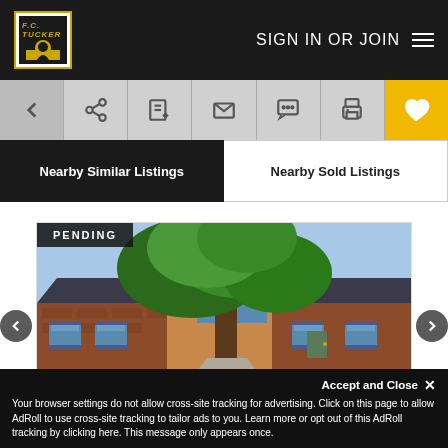F.C. Tucker — SIGN IN OR JOIN
[Figure (screenshot): Navigation toolbar with back arrow, share, edit, mail, chat, print, and favorite (heart) icons. Favorite icon has yellow background.]
Nearby Similar Listings
Nearby Sold Listings
PENDING
[Figure (photo): Exterior photo of a brick split-level house with a large tree in front, blue shutters on windows, green lawn, sunny day]
Location
2 U Drive
Accept and Close ✕
Your browser settings do not allow cross-site tracking for advertising. Click on this page to allow AdRoll to use cross-site tracking to tailor ads to you. Learn more or opt out of this AdRoll tracking by clicking here. This message only appears once.